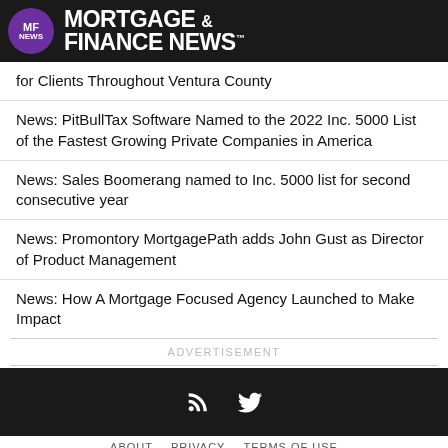MF NEWS MORTGAGE & FINANCE NEWS
for Clients Throughout Ventura County
News: PitBullTax Software Named to the 2022 Inc. 5000 List of the Fastest Growing Private Companies in America
News: Sales Boomerang named to Inc. 5000 list for second consecutive year
News: Promontory MortgagePath adds John Gust as Director of Product Management
News: How A Mortgage Focused Agency Launched to Make Impact
ADVERTISEMENT
ABOUT   PRIVACY   TERMS OF USE